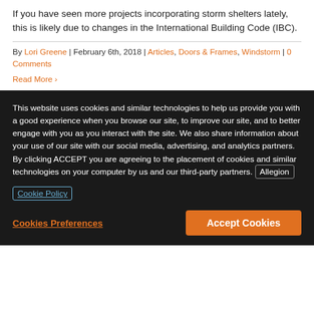If you have seen more projects incorporating storm shelters lately, this is likely due to changes in the International Building Code (IBC).
By Lori Greene | February 6th, 2018 | Articles, Doors & Frames, Windstorm | 0 Comments
Read More
This website uses cookies and similar technologies to help us provide you with a good experience when you browse our site, to improve our site, and to better engage with you as you interact with the site. We also share information about your use of our site with our social media, advertising, and analytics partners. By clicking ACCEPT you are agreeing to the placement of cookies and similar technologies on your computer by us and our third-party partners. Allegion Cookie Policy
Cookies Preferences
Accept Cookies